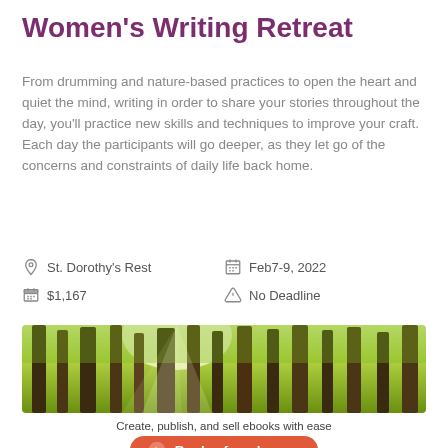Women's Writing Retreat
From drumming and nature-based practices to open the heart and quiet the mind, writing in order to share your stories throughout the day, you'll practice new skills and techniques to improve your craft. Each day the participants will go deeper, as they let go of the concerns and constraints of daily life back home.
St. Dorothy's Rest
Feb7-9, 2022
$1,167
No Deadline
[Figure (photo): Upward view of tall redwood/forest trees with sunlight streaming through green canopy]
Create, publish, and sell ebooks with ease
Book a free demo